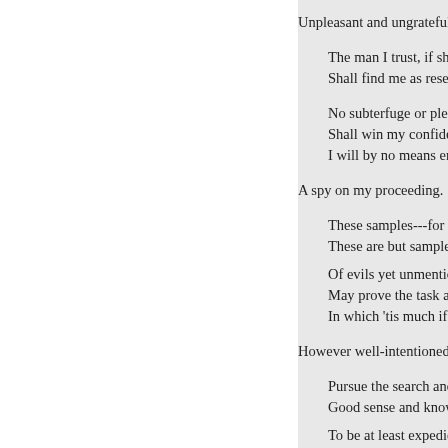Unpleasant and ungrateful.
The man I trust, if shy to me
Shall find me as reserved as
No subterfuge or pleading
Shall win my confidence ag
I will by no means entertain
A spy on my proceeding.
These samples---for alas! at
These are but samples, and
Of evils yet unmentioned--
May prove the task a task ir
In which 'tis much if we suc
However well-intentioned.
Pursue the search and you w
Good sense and knowledge
To be at least expedient,
And after summing all the